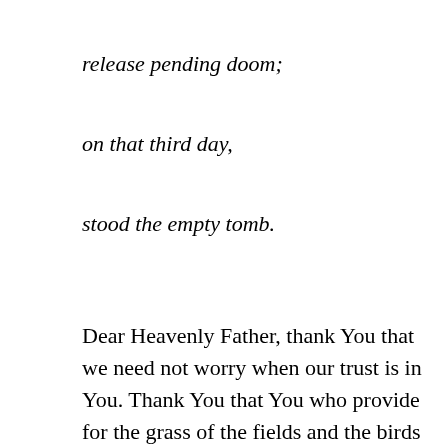release pending doom;
on that third day,
stood the empty tomb.
Dear Heavenly Father, thank You that we need not worry when our trust is in You. Thank You that You who provide for the grass of the fields and the birds of the air, even more abundantly provide for Your people. Thank You that You alone are worthy of all of our trust. Forgive us for allowing fear to seep in and freeze us up from moving forward. Grow in us an unshakable faith that is compelled to action